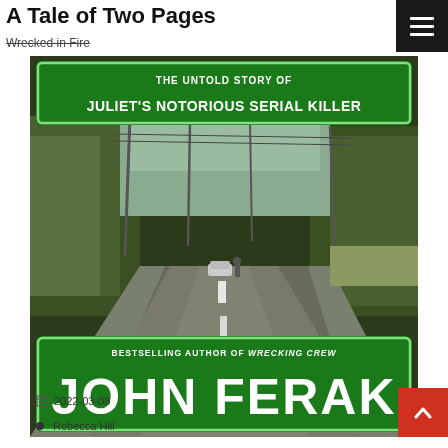A Tale of Two Pages
Wrecked in Fire
[Figure (photo): Book cover for 'Wrecked in Fire' by John Ferak. The cover shows a highway scene with green freeway-style signs. The top sign reads 'THE UNTOLD STORY OF JULIET'S NOTORIOUS SERIAL KILLER'. The bottom sign reads 'BESTSELLING AUTHOR OF WRECKING CREW / JOHN FERAK'. A car and figure are visible on the road in the background.]
2022-03-08
Rebecca Hill